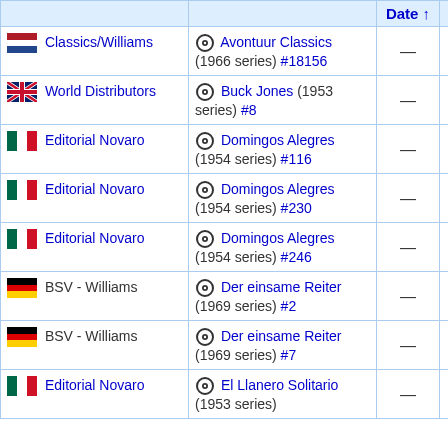| Publisher | Issue | Date ↑ | Date |
| --- | --- | --- | --- |
| 🇳🇱 Classics/Williams | ⊙ Avontuur Classics (1966 series) #18156 | — | — |
| 🇬🇧 World Distributors | ⊙ Buck Jones (1953 series) #8 | — | — |
| 🇲🇽 Editorial Novaro | ⊙ Domingos Alegres (1954 series) #116 | — | — |
| 🇲🇽 Editorial Novaro | ⊙ Domingos Alegres (1954 series) #230 | — | — |
| 🇲🇽 Editorial Novaro | ⊙ Domingos Alegres (1954 series) #246 | — | — |
| 🇩🇪 BSV - Williams | ⊙ Der einsame Reiter (1969 series) #2 | — | — |
| 🇩🇪 BSV - Williams | ⊙ Der einsame Reiter (1969 series) #7 | — | — |
| 🇲🇽 Editorial Novaro | ⊙ El Llanero Solitario (1953 series) #? | — | — |